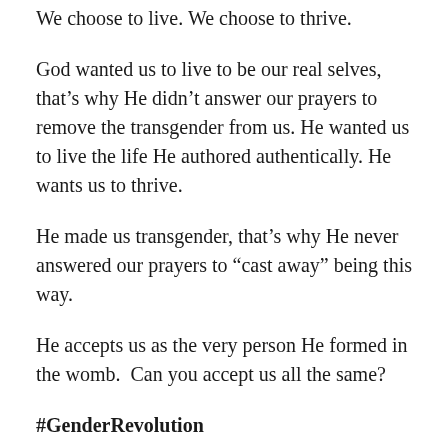We choose to live. We choose to thrive.
God wanted us to live to be our real selves, that’s why He didn’t answer our prayers to remove the transgender from us. He wanted us to live the life He authored authentically. He wants us to thrive.
He made us transgender, that’s why He never answered our prayers to “cast away” being this way.
He accepts us as the very person He formed in the womb.  Can you accept us all the same?
#GenderRevolution